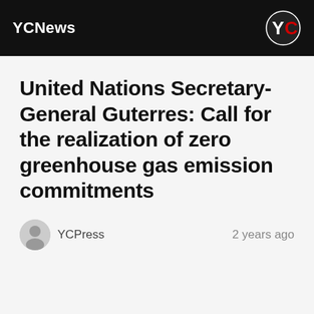YCNews
United Nations Secretary-General Guterres: Call for the realization of zero greenhouse gas emission commitments
YCPress   2 years ago